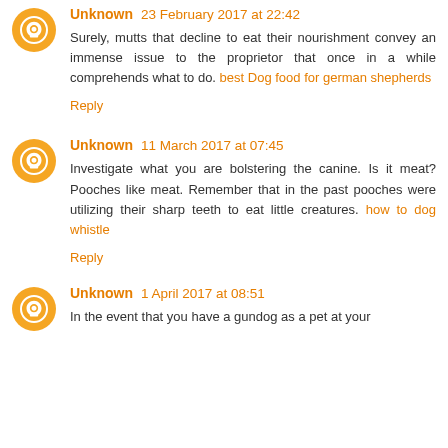Unknown 23 February 2017 at 22:42
Surely, mutts that decline to eat their nourishment convey an immense issue to the proprietor that once in a while comprehends what to do. best Dog food for german shepherds
Reply
Unknown 11 March 2017 at 07:45
Investigate what you are bolstering the canine. Is it meat? Pooches like meat. Remember that in the past pooches were utilizing their sharp teeth to eat little creatures. how to dog whistle
Reply
Unknown 1 April 2017 at 08:51
In the event that you have a gundog as a pet at your